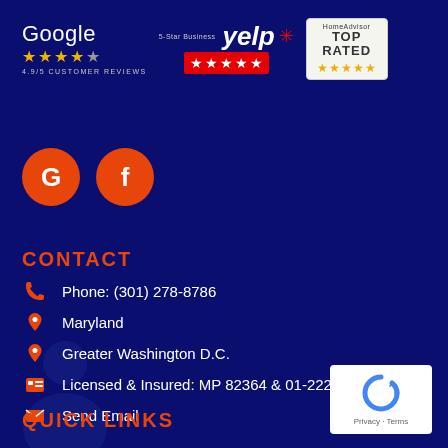[Figure (logo): Google 4.9/5 Customer Reviews badge with stars]
[Figure (logo): Yelp 5-star business badge with red stars]
[Figure (logo): HomeAdvisor Top Rated badge]
[Figure (logo): Google social icon circle (orange G)]
[Figure (logo): Facebook social icon circle (orange f)]
CONTACT
Phone: (301) 278-8786
Maryland
Greater Washington D.C.
Licensed & Insured: MP 82364 & 01-22266
Send Email
QUICK LINKS
[Figure (logo): reCAPTCHA badge with Privacy and Terms links]